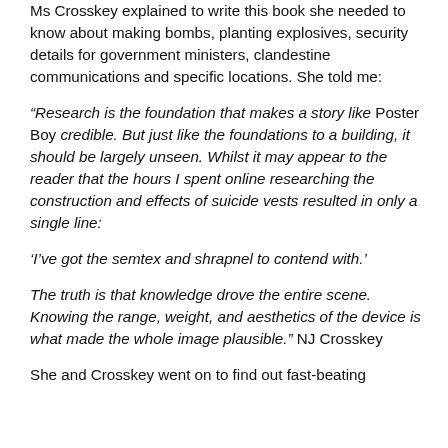Ms Crosskey explained to write this book she needed to know about making bombs, planting explosives, security details for government ministers, clandestine communications and specific locations. She told me:
“Research is the foundation that makes a story like Poster Boy credible. But just like the foundations to a building, it should be largely unseen. Whilst it may appear to the reader that the hours I spent online researching the construction and effects of suicide vests resulted in only a single line:
‘I’ve got the semtex and shrapnel to contend with.’
The truth is that knowledge drove the entire scene. Knowing the range, weight, and aesthetics of the device is what made the whole image plausible.” NJ Crosskey
She and Crosskey went on to find out fast-beating